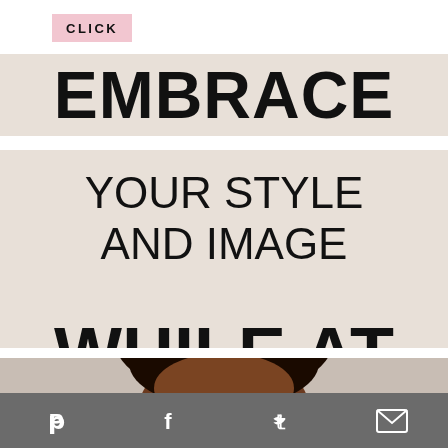CLICK
EMBRACE
YOUR STYLE AND IMAGE
WHILE AT WORK
[Figure (photo): Partial view of a person's face, cropped at the bottom of the design]
Social sharing icons: Pinterest, Facebook, Twitter, Email